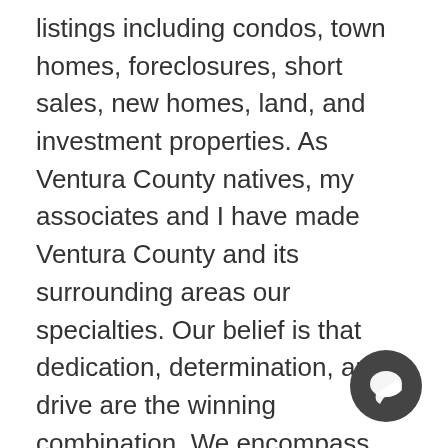listings including condos, town homes, foreclosures, short sales, new homes, land, and investment properties. As Ventura County natives, my associates and I have made Ventura County and its surrounding areas our specialties. Our belief is that dedication, determination, and drive are the winning combination. We encompass the strength of teamwork with a reputation for results.
Mike Lefton Realtor has made it easy to come and search the very thing you're looking for: HOMES! We strive to help you find that perfect property. Our easy to use search engine combines all Ventura and Los Angeles County MLS databases including Simi Valley real estate, Moorpark homes for sale, Thousand Oaks properties, Westlake Village real